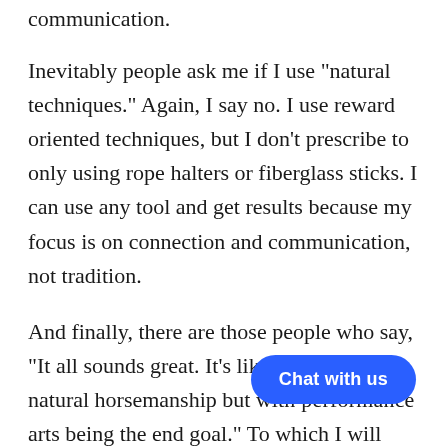communication.
Inevitably people ask me if I use "natural techniques." Again, I say no. I use reward oriented techniques, but I don't prescribe to only using rope halters or fiberglass sticks. I can use any tool and get results because my focus is on connection and communication, not tradition.
And finally, there are those people who say, "It all sounds great. It's like you are doing natural horsemanship but wi ce arts being the end goal." To which I will